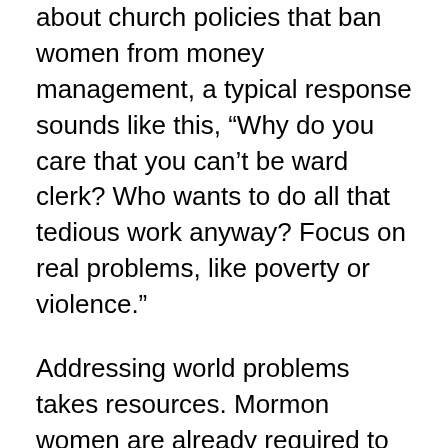about church policies that ban women from money management, a typical response sounds like this, “Why do you care that you can’t be ward clerk? Who wants to do all that tedious work anyway? Focus on real problems, like poverty or violence.”
Addressing world problems takes resources. Mormon women are already required to give at least a tenth of our incomes to the LDS Church for the implementation of God’s work, but once our money is in the hands of male church members, it becomes invisible to us. Not only do women lack authority to allocate church funds to address “real problems,” we do not even know how much money is available.
Within the church setting, money management is not just a temporal matter. Christ has said, “Wherefore, verily I say unto you that all things unto me are